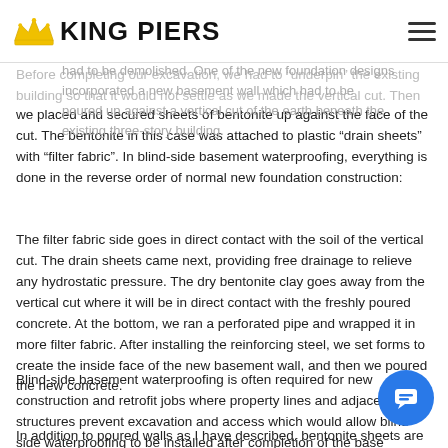King Piers
example, I recently installed two new stair tower foundations for an existing three-story hotel building. The original wood towers had been destroyed by dry rot and had to be demolished. One of the new foundation designs incorporated a new basement wall which had to be poured up against a vertical cut of the earth beneath the existing three-story building.
Before completing our excavation, we had to "underpin" the existing building so that it would not settle as we made the vertical cut. Then we placed and secured sheets of bentonite up against the face of the cut. The bentonite in this case was attached to plastic “drain sheets” with “filter fabric”. In blind-side basement waterproofing, everything is done in the reverse order of normal new foundation construction:
The filter fabric side goes in direct contact with the soil of the vertical cut. The drain sheets came next, providing free drainage to relieve any hydrostatic pressure. The dry bentonite clay goes away from the vertical cut where it will be in direct contact with the freshly poured concrete. At the bottom, we ran a perforated pipe and wrapped it in more filter fabric. After installing the reinforcing steel, we set forms to create the inside face of the new basement wall, and then we poured the new concrete.
Blind-side basement waterproofing is often required for new construction and retrofit jobs where property lines and adjacent structures prevent excavation and access which would allow blind-side waterproofing to be installed after completion of the basement walls.
In addition to poured walls as I have described, bentonite sheets are